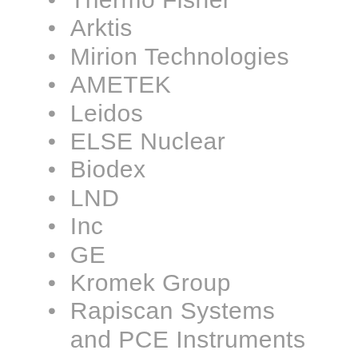Thermo Fisher
Arktis
Mirion Technologies
AMETEK
Leidos
ELSE Nuclear
Biodex
LND
Inc
GE
Kromek Group
Rapiscan Systems and PCE Instruments